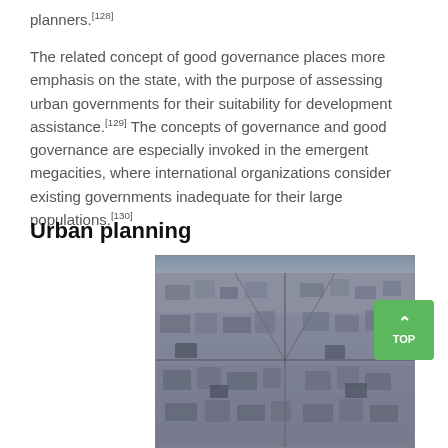planners.[128]
The related concept of good governance places more emphasis on the state, with the purpose of assessing urban governments for their suitability for development assistance.[129] The concepts of governance and good governance are especially invoked in the emergent megacities, where international organizations consider existing governments inadequate for their large populations.[130]
Urban planning
[Figure (photo): Aerial photograph of a dense urban area, showing a vast expanse of closely packed buildings and streets viewed from above.]